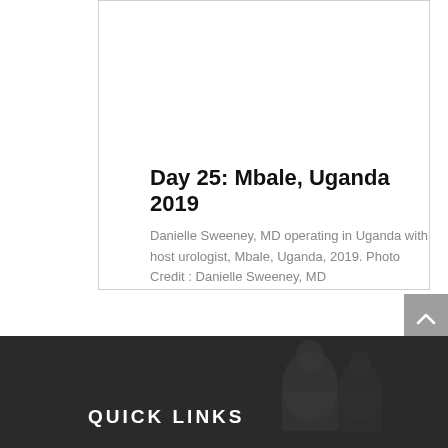Day 25: Mbale, Uganda 2019
Danielle Sweeney, MD operating in Uganda with host urologist, Mbale, Uganda, 2019. Photo Credit : Danielle Sweeney, MD
read more
QUICK LINKS